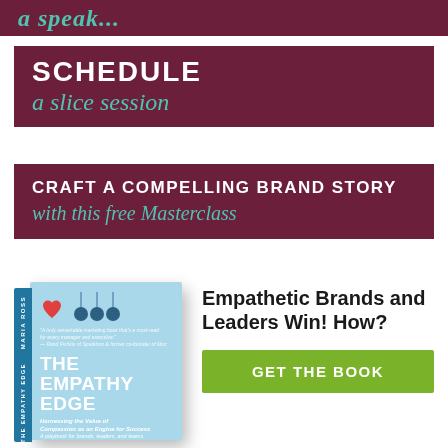[Figure (other): Top dark maroon banner with italic script text partially cut off, reading something like 'a speak...']
[Figure (other): Dark maroon banner with 'SCHEDULE' in white bold uppercase and 'a slice session' in teal italic script below]
[Figure (other): Dark maroon banner with 'CRAFT A COMPELLING BRAND STORY' in white bold uppercase and 'with this free Masterclass' in teal italic script]
[Figure (other): Book cover of 'The Empathy Edge' by Maria Ross — light blue cover with heart and pendulum ball icons, with spine text and subtitle 'Harnessing the Value of Compassion as an Engine for Success']
Empathetic Brands and Leaders Win! How?
[Figure (other): Green call-to-action button reading 'GET THE BOOK' in white bold uppercase text]